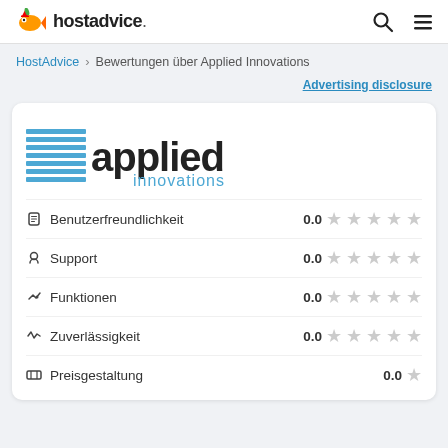hostadvice.
HostAdvice > Bewertungen über Applied Innovations
Advertising disclosure
[Figure (logo): Applied Innovations logo with blue grid lines and bold text 'applied innovations']
| Kategorie | Bewertung | Sterne |
| --- | --- | --- |
| Benutzerfreundlichkeit | 0.0 | ☆☆☆☆☆ |
| Support | 0.0 | ☆☆☆☆☆ |
| Funktionen | 0.0 | ☆☆☆☆☆ |
| Zuverlässigkeit | 0.0 | ☆☆☆☆☆ |
| Preisgestaltung | 0.0 | ☆☆☆☆☆ |